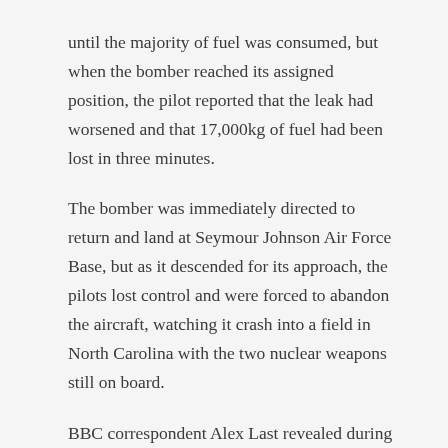until the majority of fuel was consumed, but when the bomber reached its assigned position, the pilot reported that the leak had worsened and that 17,000kg of fuel had been lost in three minutes.
The bomber was immediately directed to return and land at Seymour Johnson Air Force Base, but as it descended for its approach, the pilots lost control and were forced to abandon the aircraft, watching it crash into a field in North Carolina with the two nuclear weapons still on board.
BBC correspondent Alex Last revealed during the “Witness History” podcast how Lieutenant Jack ReVelle was immediately called to assess the situation.